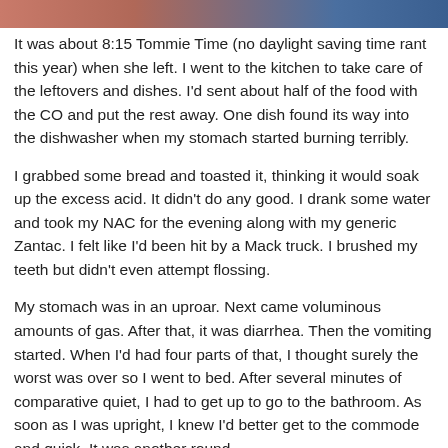[Figure (photo): Partial photo strip at the top of the page showing what appears to be skin tones and blue clothing]
It was about 8:15 Tommie Time (no daylight saving time rant this year) when she left. I went to the kitchen to take care of the leftovers and dishes. I'd sent about half of the food with the CO and put the rest away. One dish found its way into the dishwasher when my stomach started burning terribly.
I grabbed some bread and toasted it, thinking it would soak up the excess acid. It didn't do any good. I drank some water and took my NAC for the evening along with my generic Zantac. I felt like I'd been hit by a Mack truck. I brushed my teeth but didn't even attempt flossing.
My stomach was in an uproar. Next came voluminous amounts of gas. After that, it was diarrhea. Then the vomiting started. When I'd had four parts of that, I thought surely the worst was over so I went to bed. After several minutes of comparative quiet, I had to get up to go to the bathroom. As soon as I was upright, I knew I'd better get to the commode and quick. It was another round.